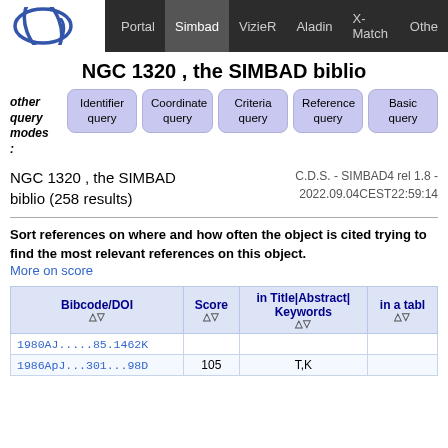Portal | Simbad | VizieR | Aladin | X-Match | Other
NGC 1320 , the SIMBAD biblio
other query modes: Identifier query | Coordinate query | Criteria query | Reference query | Basic query
NGC 1320 , the SIMBAD biblio (258 results)
C.D.S. - SIMBAD4 rel 1.8 - 2022.09.04CEST22:59:14
Sort references on where and how often the object is cited trying to find the most relevant references on this object. More on score
| Bibcode/DOI △▽ | Score △▽ | in Title|Abstract|Keywords △▽ | in a tabl △▽ |
| --- | --- | --- | --- |
| 1980AJ.....85.1462K |  |  |  |
| 1986ApJ...301...98D | 105 | T,K |  |